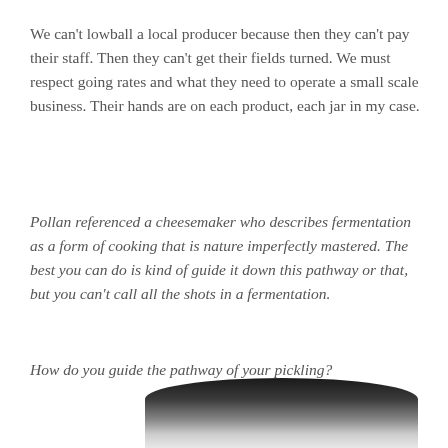We can't lowball a local producer because then they can't pay their staff. Then they can't get their fields turned. We must respect going rates and what they need to operate a small scale business. Their hands are on each product, each jar in my case.
Pollan referenced a cheesemaker who describes fermentation as a form of cooking that is nature imperfectly mastered. The best you can do is kind of guide it down this pathway or that, but you can't call all the shots in a fermentation.
How do you guide the pathway of your pickling?
[Figure (photo): Partial view of a rounded object (likely a jar lid or similar curved surface) photographed in dark lighting, showing a dark top fading to lighter tones at the bottom of the frame.]